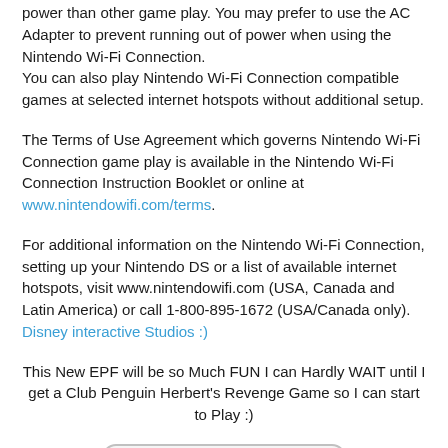power than other game play. You may prefer to use the AC Adapter to prevent running out of power when using the Nintendo Wi-Fi Connection.
You can also play Nintendo Wi-Fi Connection compatible games at selected internet hotspots without additional setup.
The Terms of Use Agreement which governs Nintendo Wi-Fi Connection game play is available in the Nintendo Wi-Fi Connection Instruction Booklet or online at www.nintendowifi.com/terms.
For additional information on the Nintendo Wi-Fi Connection, setting up your Nintendo DS or a list of available internet hotspots, visit www.nintendowifi.com (USA, Canada and Latin America) or call 1-800-895-1672 (USA/Canada only).
Disney interactive Studios :)
This New EPF will be so Much FUN I can Hardly WAIT until I get a Club Penguin Herbert's Revenge Game so I can start to Play :)
[Figure (other): A rounded rectangle button with the text 'I can Hardly WAIT' in bold]